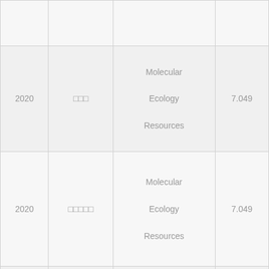|  |  |  |  |
| 2020 | □□□ | Molecular Ecology Resources | 7.049 |
| 2020 | □□□□□ | Molecular Ecology Resources | 7.049 |
| 2020 | □□ | Genomics, Proteomics & Bioinformatics | 6.597 |